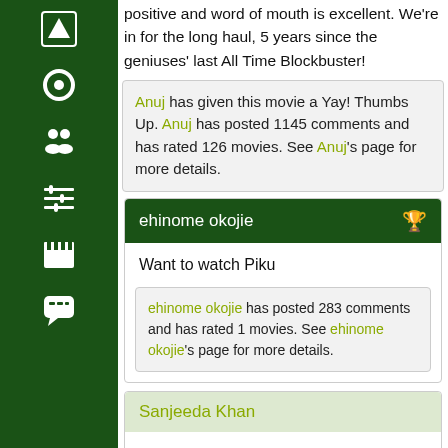positive and word of mouth is excellent. We're in for the long haul, 5 years since the geniuses' last All Time Blockbuster!
Anuj has given this movie a Yay! Thumbs Up. Anuj has posted 1145 comments and has rated 126 movies. See Anuj's page for more details.
ehinome okojie
Want to watch Piku
ehinome okojie has posted 283 comments and has rated 1 movies. See ehinome okojie's page for more details.
Sanjeeda Khan
Rajkumar Hirani comes again with his team. This time based on great Sanjay Datta, but id